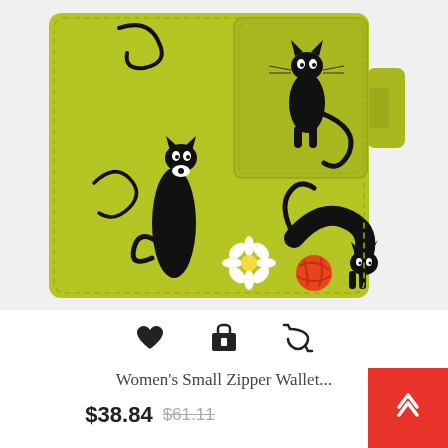[Figure (photo): A lime green women's small zipper wallet with black cat illustrations on the front. The wallet features multiple stylized black cats in various poses, a daisy flower, and an orange ball of yarn. There is a snap closure tab on the right side.]
♥  🛒  ↺
Women's Small Zipper Wallet...
$38.84  $61.11